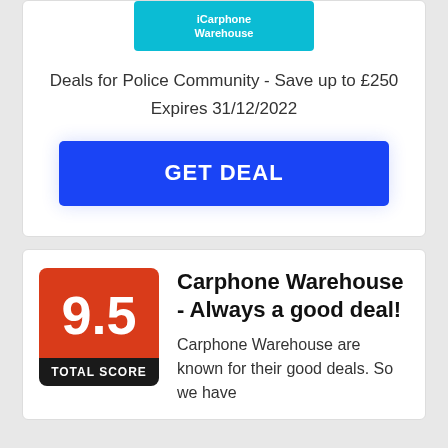[Figure (logo): Carphone Warehouse logo on teal/cyan background]
Deals for Police Community - Save up to £250
Expires 31/12/2022
GET DEAL
[Figure (infographic): Score box showing 9.5 TOTAL SCORE in red and black]
Carphone Warehouse - Always a good deal!
Carphone Warehouse are known for their good deals. So we have